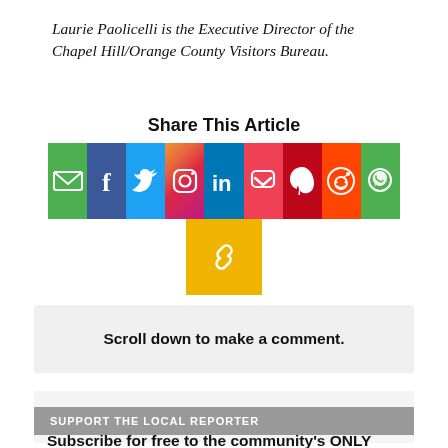Laurie Paolicelli is the Executive Director of the Chapel Hill/Orange County Visitors Bureau.
Share This Article
[Figure (infographic): Row of social media sharing icons: Email, Facebook, Twitter, Instagram, LinkedIn, Pocket, Pinterest, Reddit, WhatsApp, and a link/copy icon]
Scroll down to make a comment.
SUPPORT THE LOCAL REPORTER
Subscribe for free to the community’s ONLY local nonprofit news source! Support local journalism by becoming a sustainer.